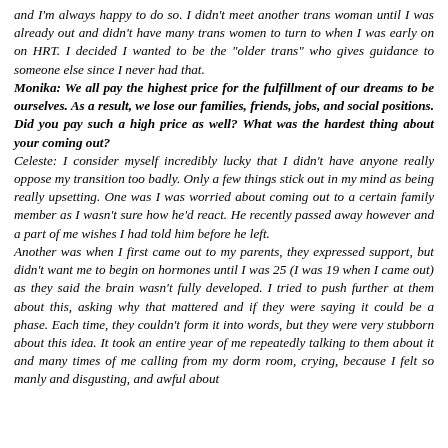and I'm always happy to do so. I didn't meet another trans woman until I was already out and didn't have many trans women to turn to when I was early on on HRT. I decided I wanted to be the "older trans" who gives guidance to someone else since I never had that.
Monika: We all pay the highest price for the fulfillment of our dreams to be ourselves. As a result, we lose our families, friends, jobs, and social positions. Did you pay such a high price as well? What was the hardest thing about your coming out?
Celeste: I consider myself incredibly lucky that I didn't have anyone really oppose my transition too badly. Only a few things stick out in my mind as being really upsetting. One was I was worried about coming out to a certain family member as I wasn't sure how he'd react. He recently passed away however and a part of me wishes I had told him before he left.
Another was when I first came out to my parents, they expressed support, but didn't want me to begin on hormones until I was 25 (I was 19 when I came out) as they said the brain wasn't fully developed. I tried to push further at them about this, asking why that mattered and if they were saying it could be a phase. Each time, they couldn't form it into words, but they were very stubborn about this idea. It took an entire year of me repeatedly talking to them about it and many times of me calling from my dorm room, crying, because I felt so manly and disgusting, and awful about